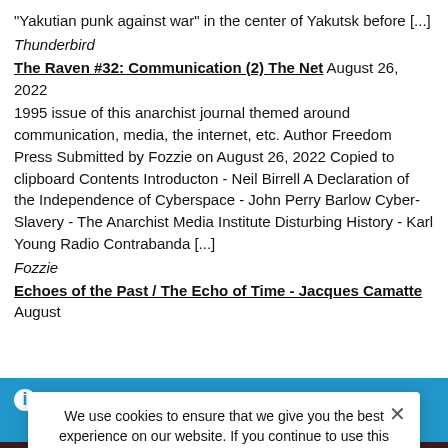"Yakutian punk against war" in the center of Yakutsk before [...]
Thunderbird
The Raven #32: Communication (2) The Net August 26, 2022
1995 issue of this anarchist journal themed around communication, media, the internet, etc. Author Freedom Press Submitted by Fozzie on August 26, 2022 Copied to clipboard Contents Introducton - Neil Birrell A Declaration of the Independence of Cyberspace - John Perry Barlow Cyber-Slavery - The Anarchist Media Institute Disturbing History - Karl Young Radio Contrabanda [...]
Fozzie
Echoes of the Past / The Echo of Time - Jacques Camatte August
On February 1, 2021, Our Online-Shop will be closed. All
orders until January 31 will be delivered
Dismiss
We use cookies to ensure that we give you the best experience on our website. If you continue to use this site we will assume that you are happy with it.
Ok